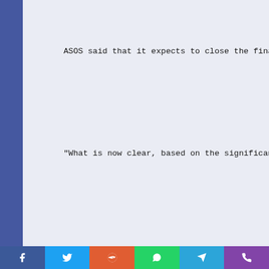ASOS said that it expects to close the financial y
“What is now clear, based on the significant incre
Write to Sabela Ojea at sabela.ojea@wsj.com;
Corrections & Amplifications
[Figure (other): Social share bar with Facebook, Twitter, Reddit, WhatsApp, Telegram, and phone icons]